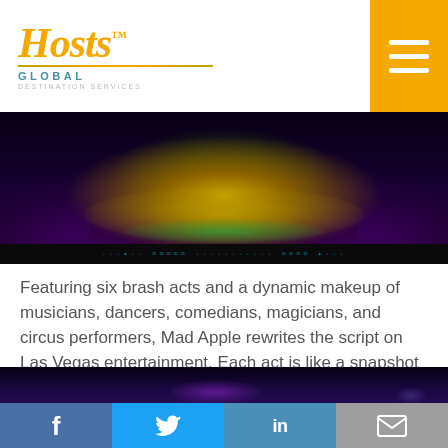Hosts Global Destination Services
[Figure (photo): Stage performance photo showing a lit circular stage with colorful lighting, performers, and audience in a dark venue. A ticker/LED display bar runs across the bottom of the image.]
Featuring six brash acts and a dynamic makeup of musicians, dancers, comedians, magicians, and circus performers, Mad Apple rewrites the script on Las Vegas entertainment. Each act is like a snapshot from a different nocturnal side of New York, brought to life by underground stars, high-flying acrobats, street performers, up-and-coming entertainers, and the biggest musical hits to come out of the city.
[Figure (photo): Partial dark photo of a performance venue with purple stage lighting visible at bottom of frame.]
Social media share buttons: Facebook, Twitter, LinkedIn, Email